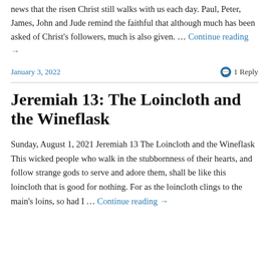news that the risen Christ still walks with us each day. Paul, Peter, James, John and Jude remind the faithful that although much has been asked of Christ's followers, much is also given. … Continue reading →
January 3, 2022    1 Reply
Jeremiah 13: The Loincloth and the Wineflask
Sunday, August 1, 2021 Jeremiah 13 The Loincloth and the Wineflask This wicked people who walk in the stubbornness of their hearts, and follow strange gods to serve and adore them, shall be like this loincloth that is good for nothing. For as the loincloth clings to the main's loins, so had I … Continue reading →